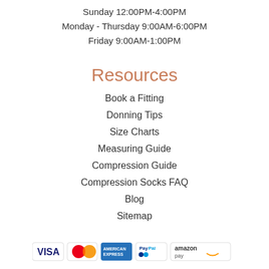Sunday 12:00PM-4:00PM
Monday - Thursday 9:00AM-6:00PM
Friday 9:00AM-1:00PM
Resources
Book a Fitting
Donning Tips
Size Charts
Measuring Guide
Compression Guide
Compression Socks FAQ
Blog
Sitemap
[Figure (logo): Payment icons: VISA, MasterCard, American Express, PayPal, Amazon Pay]
[Figure (logo): Shopper Approved badge with 5 orange stars]